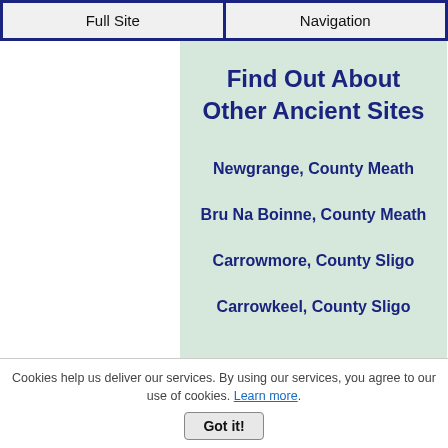Full Site | Navigation
Find Out About Other Ancient Sites
Newgrange, County Meath
Bru Na Boinne, County Meath
Carrowmore, County Sligo
Carrowkeel, County Sligo
Cookies help us deliver our services. By using our services, you agree to our use of cookies. Learn more. Got it!